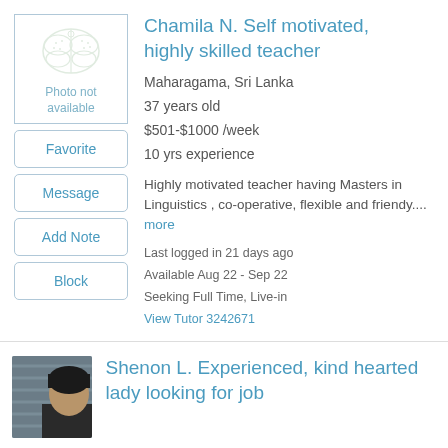[Figure (photo): Placeholder image with butterfly watermark and 'Photo not available' text]
Chamila N. Self motivated, highly skilled teacher
Maharagama, Sri Lanka
37 years old
$501-$1000 /week
10 yrs experience
Highly motivated teacher having Masters in Linguistics , co-operative, flexible and friendy.... more
Last logged in 21 days ago
Available Aug 22 - Sep 22
Seeking Full Time, Live-in
View Tutor 3242671
[Figure (photo): Photo of Shenon L., a person wearing dark clothing]
Shenon L. Experienced, kind hearted lady looking for job